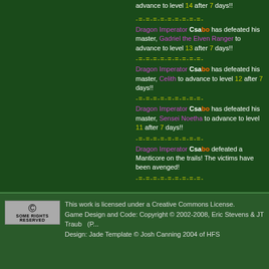advance to level 14 after 7 days!!
-=-=-=-=-=-=-=-=-=-
Dragon Imperator Csabo has defeated his master, Gadriel the Elven Ranger to advance to level 13 after 7 days!!
-=-=-=-=-=-=-=-=-=-
Dragon Imperator Csabo has defeated his master, Celith to advance to level 12 after 7 days!!
-=-=-=-=-=-=-=-=-=-
Dragon Imperator Csabo has defeated his master, Sensei Noetha to advance to level 11 after 7 days!!
-=-=-=-=-=-=-=-=-=-
Dragon Imperator Csabo defeated a Manticore on the trails! The victims have been avenged!
-=-=-=-=-=-=-=-=-=-
This work is licensed under a Creative Commons License. Game Design and Code: Copyright © 2002-2008, Eric Stevens & JT Traub (P... Design: Jade Template © Josh Canning 2004 of HFS